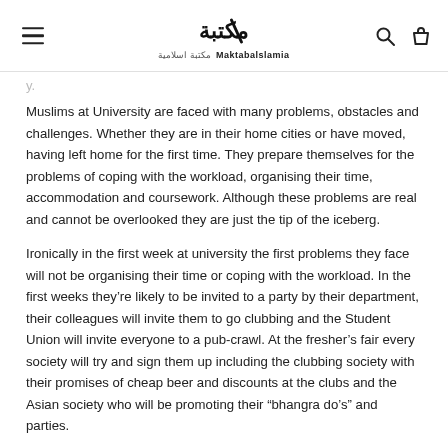MaktabaIslamia logo header with menu, search, and bag icons
Muslims at University are faced with many problems, obstacles and challenges. Whether they are in their home cities or have moved, having left home for the first time. They prepare themselves for the problems of coping with the workload, organising their time, accommodation and coursework. Although these problems are real and cannot be overlooked they are just the tip of the iceberg.
Ironically in the first week at university the first problems they face will not be organising their time or coping with the workload. In the first weeks they’re likely to be invited to a party by their department, their colleagues will invite them to go clubbing and the Student Union will invite everyone to a pub-crawl. At the fresher’s fair every society will try and sign them up including the clubbing society with their promises of cheap beer and discounts at the clubs and the Asian society who will be promoting their “bhangra do’s” and parties.
This leaves Muslims with a real dilemma: should we go with the flow